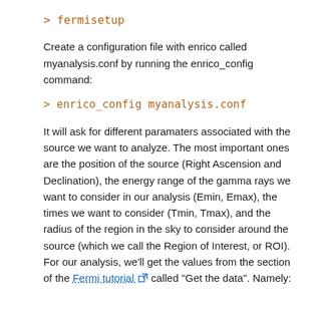> fermisetup
Create a configuration file with enrico called myanalysis.conf by running the enrico_config command:
> enrico_config myanalysis.conf
It will ask for different paramaters associated with the source we want to analyze. The most important ones are the position of the source (Right Ascension and Declination), the energy range of the gamma rays we want to consider in our analysis (Emin, Emax), the times we want to consider (Tmin, Tmax), and the radius of the region in the sky to consider around the source (which we call the Region of Interest, or ROI). For our analysis, we'll get the values from the section of the Fermi tutorial called "Get the data". Namely: